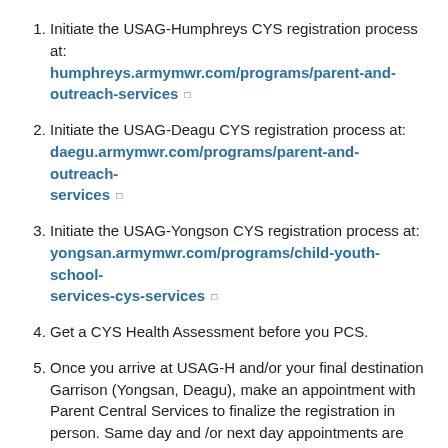Initiate the USAG-Humphreys CYS registration process at: humphreys.armymwr.com/programs/parent-and-outreach-services
Initiate the USAG-Deagu CYS registration process at: daegu.armymwr.com/programs/parent-and-outreach-services
Initiate the USAG-Yongson CYS registration process at: yongsan.armymwr.com/programs/child-youth-school-services-cys-services
Get a CYS Health Assessment before you PCS.
Once you arrive at USAG-H and/or your final destination Garrison (Yongsan, Deagu), make an appointment with Parent Central Services to finalize the registration in person. Same day and /or next day appointments are available and prioritized to support single parents and dual-military families.
Note: Single Soldiers and Dual-Military families must complete and have on file a family care plan within 30 days of arrival into Korean